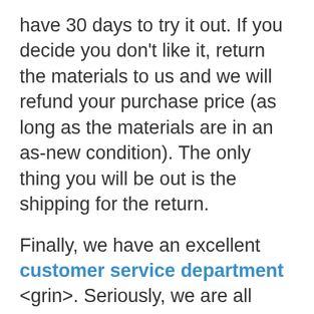have 30 days to try it out. If you decide you don't like it, return the materials to us and we will refund your purchase price (as long as the materials are in an as-new condition). The only thing you will be out is the shipping for the return.
Finally, we have an excellent customer service department <grin>. Seriously, we are all homeschooling moms just like you who have been through the curriculum and want to help you and your family succeed! It is our passion and drive.
I hope that helps! Of course, PLEASE feel free to email us with further questions you may have about the program and how it might work with your family. We are always